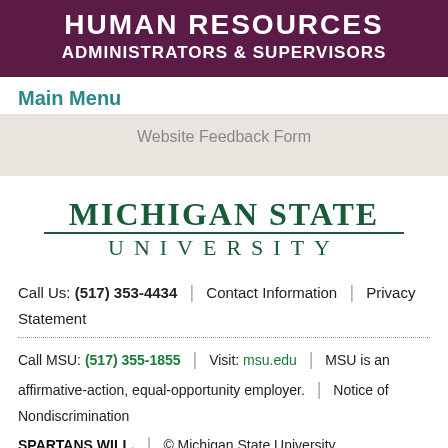HUMAN RESOURCES
ADMINISTRATORS & SUPERVISORS
Main Menu
Website Feedback Form
[Figure (logo): Michigan State University logo with bold green text]
Call Us: (517) 353-4434 | Contact Information | Privacy Statement
Call MSU: (517) 355-1855 | Visit: msu.edu | MSU is an affirmative-action, equal-opportunity employer. | Notice of Nondiscrimination
SPARTANS WILL. | © Michigan State University